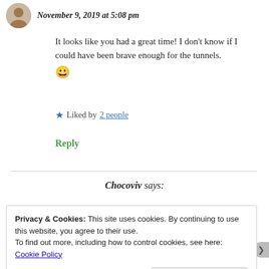November 9, 2019 at 5:08 pm
It looks like you had a great time! I don't know if I could have been brave enough for the tunnels. 😀
★ Liked by 2 people
Reply
Chocoviv says:
Privacy & Cookies: This site uses cookies. By continuing to use this website, you agree to their use.
To find out more, including how to control cookies, see here: Cookie Policy
Close and accept